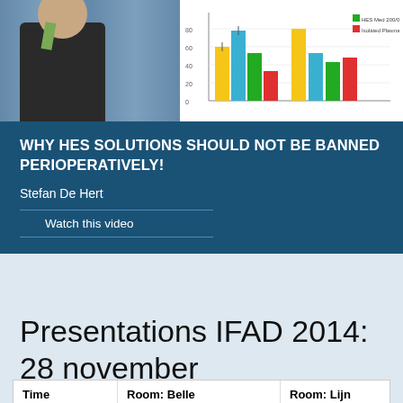[Figure (photo): Photo of speaker (Stefan De Hert) at a podium with blue curtain background, alongside a bar chart showing medical/clinical data with colored bars (yellow, blue, green, red)]
WHY HES SOLUTIONS SHOULD NOT BE BANNED PERIOPERATIVELY!
Stefan De Hert
Watch this video
Presentations IFAD 2014: 28 november
Written by Administrator. Posted in Presentations
| Time | Room: Belle Epoque | Room: Lijn |
| --- | --- | --- |